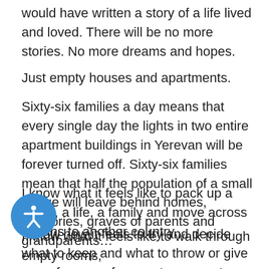would have written a story of a life lived and loved. There will be no more stories. No more dreams and hopes.
Just empty houses and apartments.
Sixty-six families a day means that every single day the lights in two entire apartment buildings in Yerevan will be forever turned off. Sixty-six families mean that half the population of a small village will leave behind homes, memories, graves of parents and grandparents…
I know what it feels like to pack up a home, a life, a family and move across oceans to another country.
I know how it feels to try and decide what to keep and what to throw or give away for every fragment represents a memory, a touch, a feel, a sensation.
I know what it feels like to walk through empty rooms,